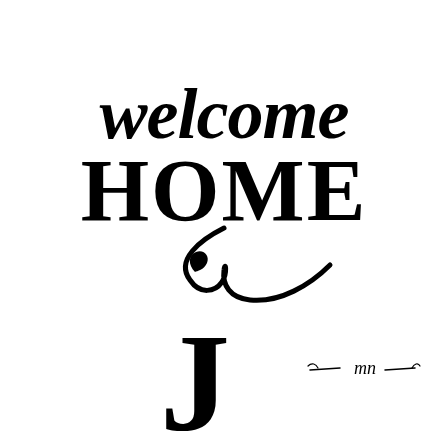[Figure (illustration): Hand-lettered calligraphy artwork reading 'welcome HOME' in decorative brush script with flourishes and swashes, in black on white background. Below, a partially visible decorative letter 'J' or key shape in bold serif style, and a small cursive signature or monogram 'mn' with decorative lines on either side.]